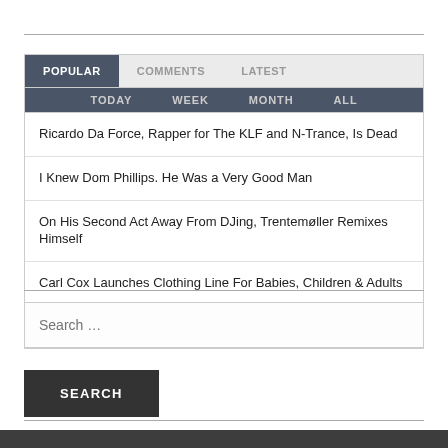POPULAR | COMMENTS | LATEST
Ricardo Da Force, Rapper for The KLF and N-Trance, Is Dead
I Knew Dom Phillips. He Was a Very Good Man
On His Second Act Away From DJing, Trentemøller Remixes Himself
Carl Cox Launches Clothing Line For Babies, Children & Adults
Big Shot Guest Mix 352: DJ Dobrel
Search …
SEARCH